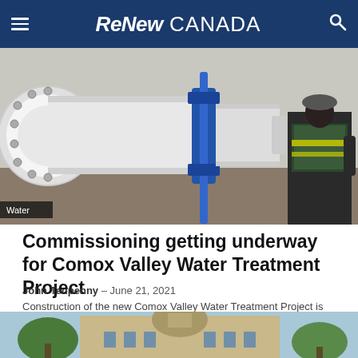ReNew CANADA
[Figure (photo): Construction workers and industrial water pipe fittings, showing a large white pipe with blue flanged fitting and a worker in high-visibility vest in the background. Badge label: Water]
Commissioning getting underway for Comox Valley Water Treatment Project
John Tenpenny – June 21, 2021
Construction of the new Comox Valley Water Treatment Project is nearing the finish line. On June 23 treated water will begin flowing from the…
[Figure (photo): Exterior view of a government building with a dome, blue sky and trees visible]